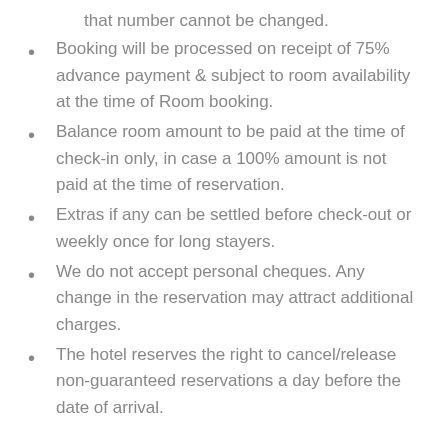that number cannot be changed.
Booking will be processed on receipt of 75% advance payment & subject to room availability at the time of Room booking.
Balance room amount to be paid at the time of check-in only, in case a 100% amount is not paid at the time of reservation.
Extras if any can be settled before check-out or weekly once for long stayers.
We do not accept personal cheques. Any change in the reservation may attract additional charges.
The hotel reserves the right to cancel/release non-guaranteed reservations a day before the date of arrival.